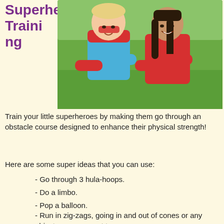Superhero Training
[Figure (photo): Two children dressed as superheroes — one in a blue costume with red cape and red gloves, one in a red dress — standing arms crossed in front of a green outdoor background.]
Train your little superheroes by making them go through an obstacle course designed to enhance their physical strength!
Here are some super ideas that you can use:
- Go through 3 hula-hoops.
- Do a limbo.
- Pop a balloon.
- Run in zig-zags, going in and out of cones or any object you may want to use